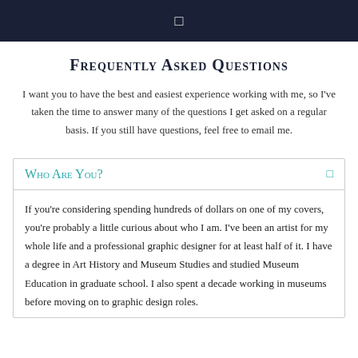Frequently Asked Questions
I want you to have the best and easiest experience working with me, so I've taken the time to answer many of the questions I get asked on a regular basis. If you still have questions, feel free to email me.
Who Are You?
If you're considering spending hundreds of dollars on one of my covers, you're probably a little curious about who I am. I've been an artist for my whole life and a professional graphic designer for at least half of it. I have a degree in Art History and Museum Studies and studied Museum Education in graduate school. I also spent a decade working in museums before moving on to graphic design roles.